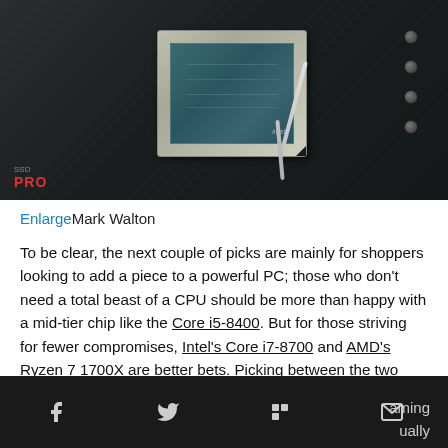[Figure (photo): Close-up photo of an Intel CPU processor seated on a dark motherboard with carbon fiber-like texture, showing the chip from above with a cable nearby. A red 'PRO' label is visible in the lower left corner.]
Enlarge Mark Walton
To be clear, the next couple of picks are mainly for shoppers looking to add a piece to a powerful PC; those who don't need a total beast of a CPU should be more than happy with a mid-tier chip like the Core i5-8400. But for those striving for fewer compromises, Intel's Core i7-8700 and AMD's Ryzen 7 1700X are better bets. Picking between the two really depends on what your gift recipient is looking ... aming ... ually